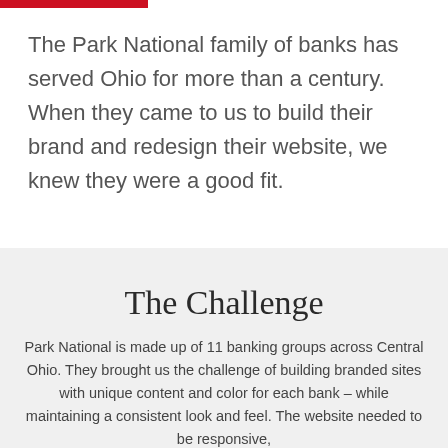The Park National family of banks has served Ohio for more than a century. When they came to us to build their brand and redesign their website, we knew they were a good fit.
The Challenge
Park National is made up of 11 banking groups across Central Ohio. They brought us the challenge of building branded sites with unique content and color for each bank – while maintaining a consistent look and feel. The website needed to be responsive,